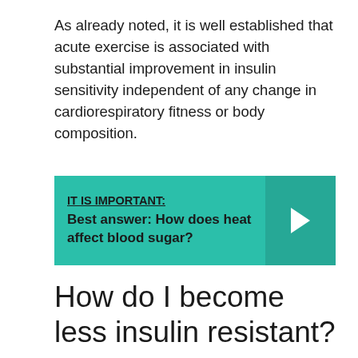As already noted, it is well established that acute exercise is associated with substantial improvement in insulin sensitivity independent of any change in cardiorespiratory fitness or body composition.
[Figure (infographic): Teal banner callout box with label 'IT IS IMPORTANT:' underlined, followed by bold text 'Best answer: How does heat affect blood sugar?' and a right-facing chevron arrow on the right side.]
How do I become less insulin resistant?
Insulin Resistance Treatment and Prevention
1. Exercise. Go for at least 30 minutes a